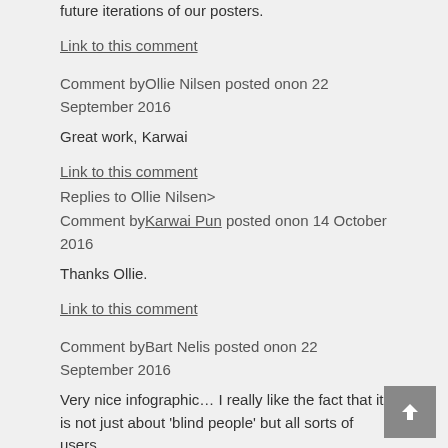future iterations of our posters.
Link to this comment
Comment byOllie Nilsen posted onon 22 September 2016
Great work, Karwai
Link to this comment
Replies to Ollie Nilsen>
Comment byKarwai Pun posted onon 14 October 2016
Thanks Ollie.
Link to this comment
Comment byBart Nelis posted onon 22 September 2016
Very nice infographic… I really like the fact that it is not just about 'blind people' but all sorts of users.